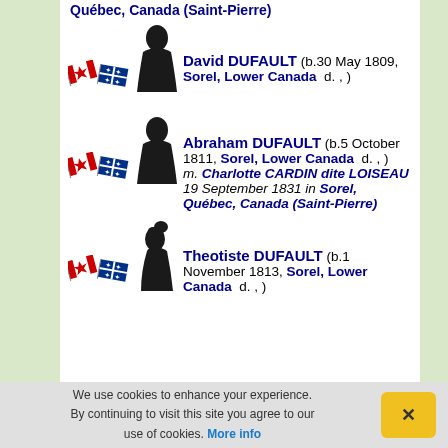Québec, Canada (Saint-Pierre)
David DUFAULT (b.30 May 1809, Sorel, Lower Canada d. , )
Abraham DUFAULT (b.5 October 1811, Sorel, Lower Canada d. , ) m. Charlotte CARDIN dite LOISEAU 19 September 1831 in Sorel, Québec, Canada (Saint-Pierre)
Theotiste DUFAULT (b.1 November 1813, Sorel, Lower Canada d. , )
We use cookies to enhance your experience. By continuing to visit this site you agree to our use of cookies. More info